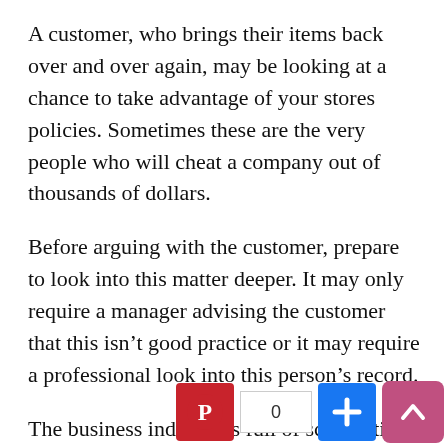A customer, who brings their items back over and over again, may be looking at a chance to take advantage of your stores policies. Sometimes these are the very people who will cheat a company out of thousands of dollars.
Before arguing with the customer, prepare to look into this matter deeper. It may only require a manager advising the customer that this isn't good practice or it may require a professional look into this person's record.
The business industry is full of scam artists just looking to make a buck. Knowing the difference between a customer and a scammer may